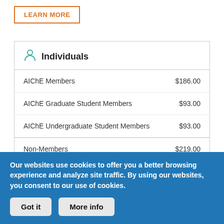LEARN MORE
| Member Type | Price |
| --- | --- |
| AIChE Members | $186.00 |
| AIChE Graduate Student Members | $93.00 |
| AIChE Undergraduate Student Members | $93.00 |
| Non-Members | $219.00 |
What You'll Learn
Our websites use cookies to offer you a better browsing experience and analyze site traffic. By using our websites, you consent to our use of cookies.
Got it  More info